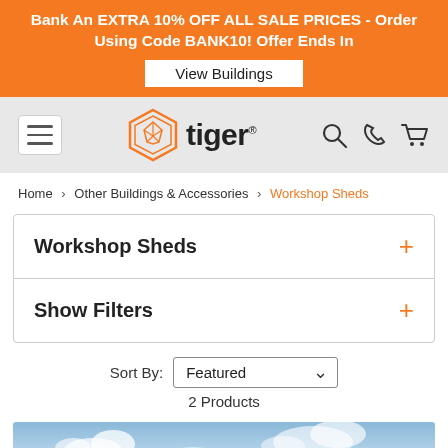Bank An EXTRA 10% OFF ALL SALE PRICES - Order Using Code BANK10! Offer Ends In
[Figure (logo): Tiger brand logo with geometric tiger head icon in orange hexagon and bold 'tiger' wordmark]
Home > Other Buildings & Accessories > Workshop Sheds
Workshop Sheds +
Show Filters +
Sort By: Featured — 2 Products
[Figure (photo): Bottom partial view of product image showing blue sky with clouds]